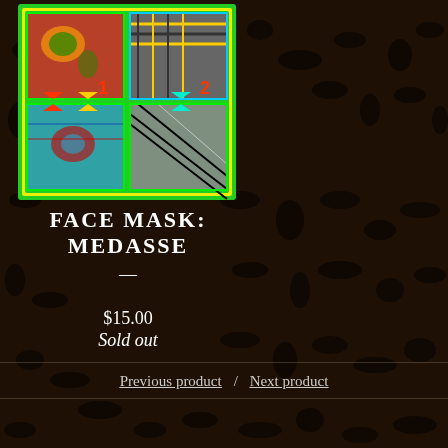[Figure (photo): Four fabric face masks arranged in a 2x2 grid collage. Top-left: mask #1 with red and green African print fabric. Top-right: mask #2 with geometric kente-style black, gold and white pattern. Bottom-left: mask with teal/blue African wax print and red accents. Bottom-right: mask with black and white geometric pattern. Green and yellow border around grid.]
FACE MASK: MEDASSE
$15.00
Sold out
Previous product  /  Next product